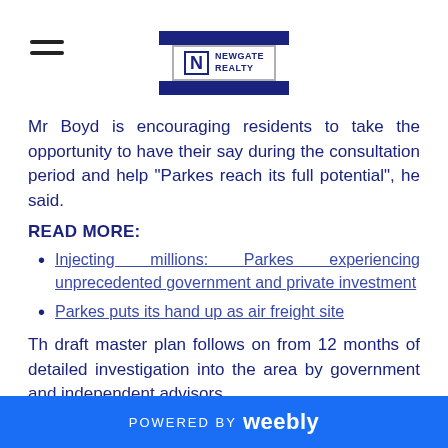Newgate Realty logo with hamburger menu
Mr Boyd is encouraging residents to take the opportunity to have their say during the consultation period and help "Parkes reach its full potential", he said.
READ MORE:
Injecting millions: Parkes experiencing unprecedented government and private investment
Parkes puts its hand up as air freight site
Th draft master plan follows on from 12 months of detailed investigation into the area by government and independent advisors.
As part of the investigations, Mr Boyd said an independent consultant identified land owned
POWERED BY weebly